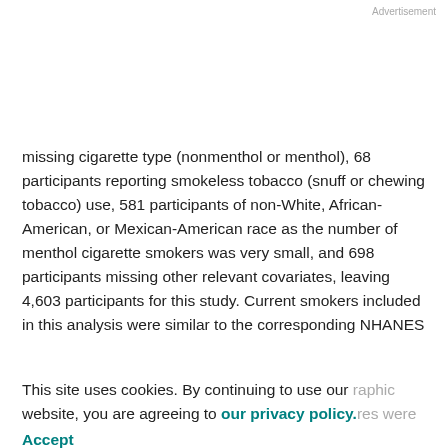Advertisement
missing cigarette type (nonmenthol or menthol), 68 participants reporting smokeless tobacco (snuff or chewing tobacco) use, 581 participants of non-White, African-American, or Mexican-American race as the number of menthol cigarette smokers was very small, and 698 participants missing other relevant covariates, leaving 4,603 participants for this study. Current smokers included in this analysis were similar to the corresponding NHANES
This site uses cookies. By continuing to use our website, you are agreeing to our privacy policy. Accept